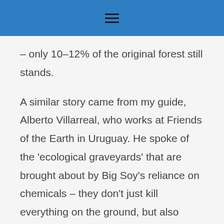≡
– only 10–12% of the original forest still stands.

A similar story came from my guide, Alberto Villarreal, who works at Friends of the Earth in Uruguay. He spoke of the 'ecological graveyards' that are brought about by Big Soy's reliance on chemicals – they don't just kill everything on the ground, but also everything in the ground (apart from the genetically modified soy beans, of course).